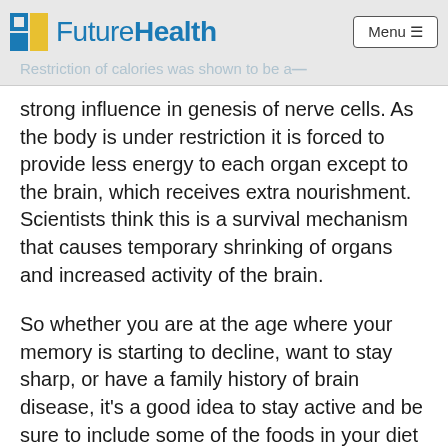FutureHealth — Menu
Restriction of calories was shown to be a—
strong influence in genesis of nerve cells. As the body is under restriction it is forced to provide less energy to each organ except to the brain, which receives extra nourishment. Scientists think this is a survival mechanism that causes temporary shrinking of organs and increased activity of the brain.
So whether you are at the age where your memory is starting to decline, want to stay sharp, or have a family history of brain disease, it's a good idea to stay active and be sure to include some of the foods in your diet that